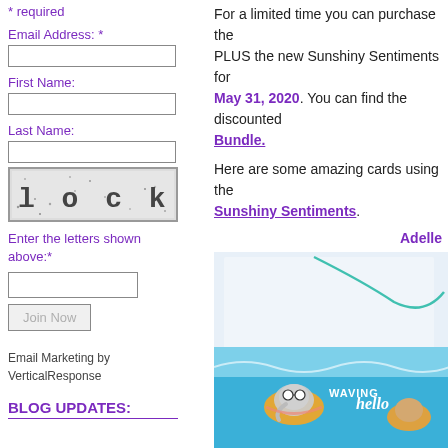* required
Email Address: *
First Name:
Last Name:
[Figure (other): CAPTCHA image showing distorted text 'l o c k y']
Enter the letters shown above:*
Join Now (button)
Email Marketing by VerticalResponse
BLOG UPDATES:
For a limited time you can purchase the PLUS the new Sunshiny Sentiments for May 31, 2020. You can find the discounted Bundle.
Here are some amazing cards using the Sunshiny Sentiments.
Adelle
[Figure (photo): A colorful card with beach/ocean theme showing animals (elephant and others) swimming/floating, with text 'WAVING hello' on a blue water background]